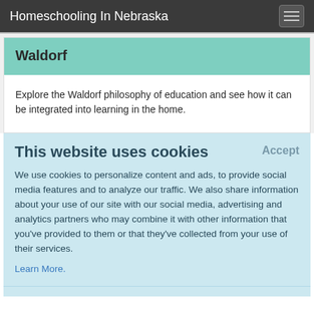Homeschooling In Nebraska
Waldorf
Explore the Waldorf philosophy of education and see how it can be integrated into learning in the home.
This website uses cookies
We use cookies to personalize content and ads, to provide social media features and to analyze our traffic. We also share information about your use of our site with our social media, advertising and analytics partners who may combine it with other information that you've provided to them or that they've collected from your use of their services.
Learn More.